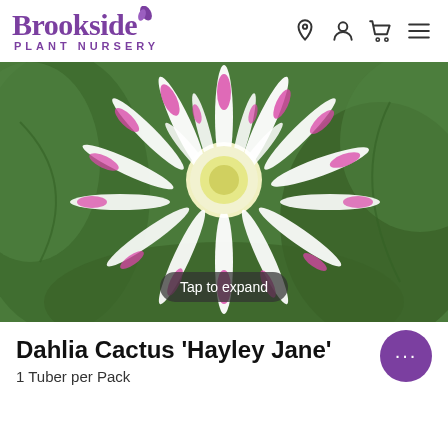[Figure (logo): Brookside Plant Nursery logo with purple leaf motif and text]
[Figure (photo): Close-up photograph of a Dahlia Cactus 'Hayley Jane' flower with white and pink/magenta pointed petals against green foliage background, with 'Tap to expand' overlay label]
Dahlia Cactus 'Hayley Jane'
1 Tuber per Pack